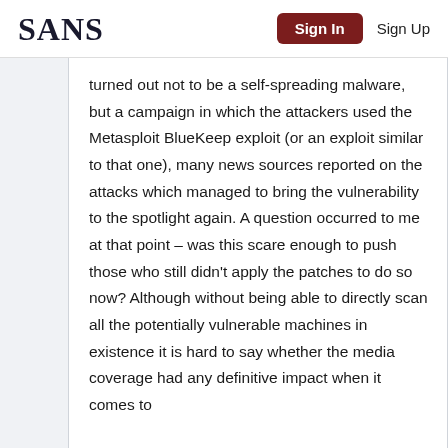SANS | Sign In | Sign Up
turned out not to be a self-spreading malware, but a campaign in which the attackers used the Metasploit BlueKeep exploit (or an exploit similar to that one), many news sources reported on the attacks which managed to bring the vulnerability to the spotlight again. A question occurred to me at that point – was this scare enough to push those who still didn't apply the patches to do so now? Although without being able to directly scan all the potentially vulnerable machines in existence it is hard to say whether the media coverage had any definitive impact when it comes to patching...